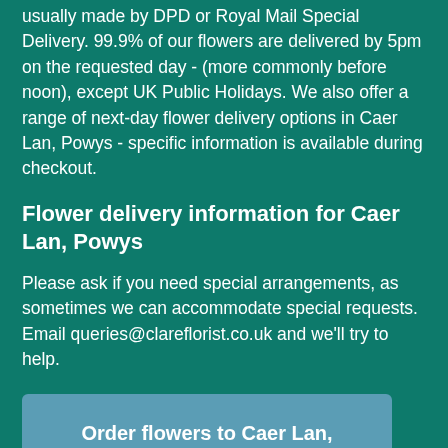usually made by DPD or Royal Mail Special Delivery. 99.9% of our flowers are delivered by 5pm on the requested day - (more commonly before noon), except UK Public Holidays. We also offer a range of next-day flower delivery options in Caer Lan, Powys - specific information is available during checkout.
Flower delivery information for Caer Lan, Powys
Please ask if you need special arrangements, as sometimes we can accommodate special requests. Email queries@clareflorist.co.uk and we'll try to help.
Order flowers to Caer Lan, Powys